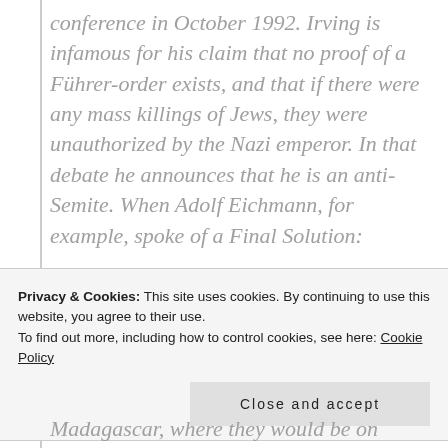conference in October 1992. Irving is infamous for his claim that no proof of a Führer-order exists, and that if there were any mass killings of Jews, they were unauthorized by the Nazi emperor. In that debate he announces that he is an anti-Semite. When Adolf Eichmann, for example, spoke of a Final Solution:
Privacy & Cookies: This site uses cookies. By continuing to use this website, you agree to their use.
To find out more, including how to control cookies, see here: Cookie Policy

Close and accept
Madagascar, where they would be on